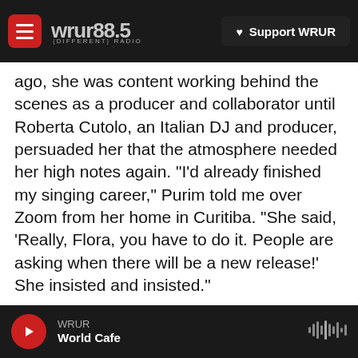WRUR 88.5 {DIFFERENT} RADIO — Support WRUR
ago, she was content working behind the scenes as a producer and collaborator until Roberta Cutolo, an Italian DJ and producer, persuaded her that the atmosphere needed her high notes again. "I'd already finished my singing career," Purim told me over Zoom from her home in Curitiba. "She said, 'Really, Flora, you have to do it. People are asking when there will be a new release!' She insisted and insisted."
If You Will steps forward by grounding itself in Purim's six decades of musical wanderlust; combining mostly new songs with a few brilliantly
WRUR — World Cafe